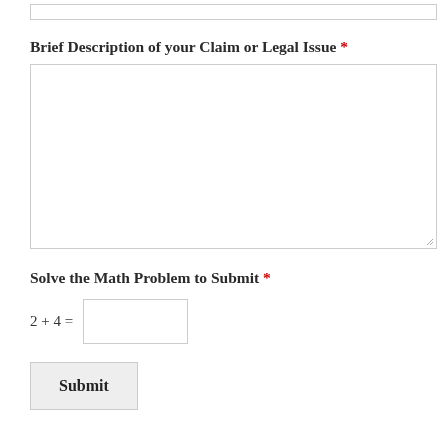Brief Description of your Claim or Legal Issue *
2 + 4 =
Solve the Math Problem to Submit *
Submit
MEMBER OF THESE PROFESSIONAL ASSOCIATIONS